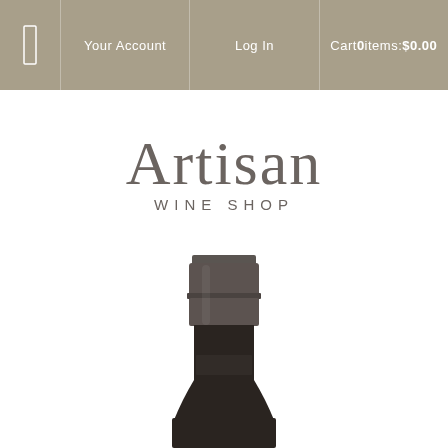Your Account | Log In | Cart 0 items: $0.00
[Figure (logo): Artisan Wine Shop logo with large serif 'Artisan' text above spaced uppercase 'WINE SHOP' text in grey]
[Figure (photo): Top portion of a dark wine bottle with grey/dark foil capsule on a white background]